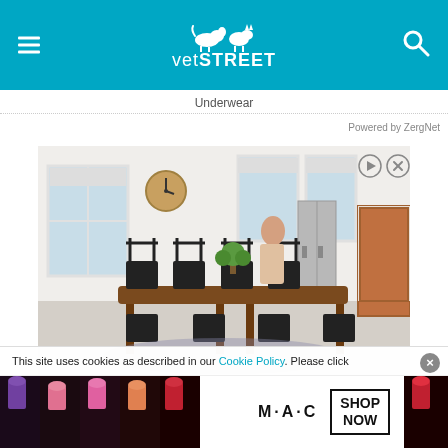vetSTREET
Underwear
Powered by ZergNet
[Figure (photo): Interior room photo showing a dining area with a wooden table, black metal chairs, windows, and a kitchen in the background. A woman stands near the table. Advertisement banner with close icons (play/triangle and X) in top right.]
This site uses cookies as described in our Cookie Policy. Please click
[Figure (advertisement): MAC cosmetics advertisement showing colorful lipsticks on the left side, MAC logo in center, and a SHOP NOW box on the right, with a red lipstick on the far right.]